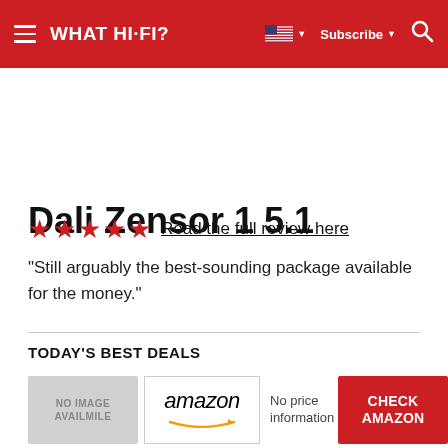WHAT HI-FI?  Subscribe
Dali Zensor 1 5.1
★★★★★ Read the full review here
"Still arguably the best-sounding package available for the money."
TODAY'S BEST DEALS
NO IMAGE AVAILABLE  amazon  No price information  CHECK AMAZON